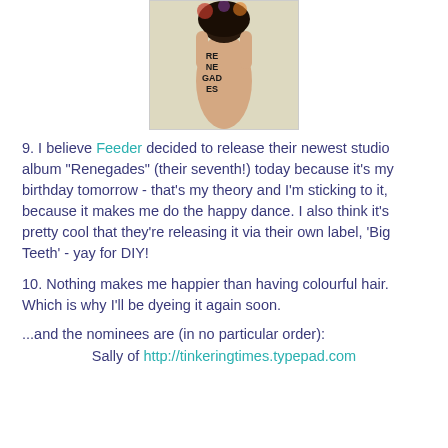[Figure (photo): Album cover photo showing a person with 'RENEGADES' written on their back, cropped at top of page]
9. I believe Feeder decided to release their newest studio album "Renegades" (their seventh!) today because it's my birthday tomorrow - that's my theory and I'm sticking to it, because it makes me do the happy dance. I also think it's pretty cool that they're releasing it via their own label, 'Big Teeth' - yay for DIY!
10. Nothing makes me happier than having colourful hair. Which is why I'll be dyeing it again soon.
...and the nominees are (in no particular order):
Sally of http://tinkeringtimes.typepad.com